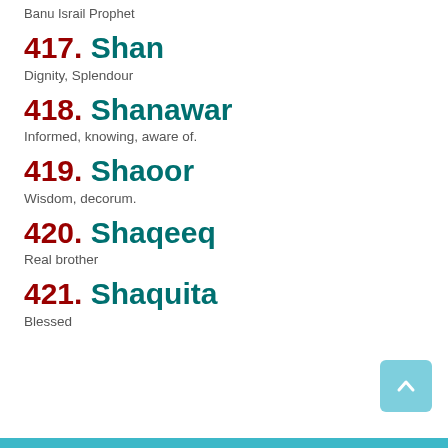Banu Israil Prophet
417. Shan
Dignity, Splendour
418. Shanawar
Informed, knowing, aware of.
419. Shaoor
Wisdom, decorum.
420. Shaqeeq
Real brother
421. Shaquita
Blessed